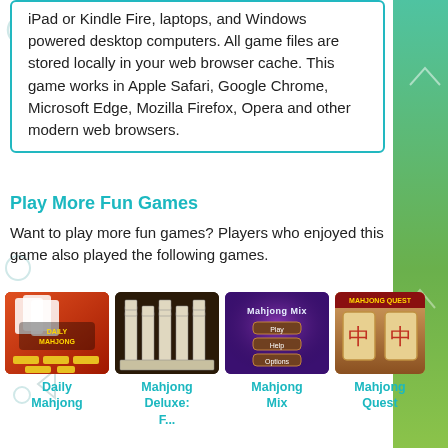iPad or Kindle Fire, laptops, and Windows powered desktop computers. All game files are stored locally in your web browser cache. This game works in Apple Safari, Google Chrome, Microsoft Edge, Mozilla Firefox, Opera and other modern web browsers.
Play More Fun Games
Want to play more fun games? Players who enjoyed this game also played the following games.
[Figure (photo): Daily Mahjong game thumbnail - red background with card game imagery and title]
Daily Mahjong
[Figure (photo): Mahjong Deluxe game thumbnail - dark brown background showing mahjong tiles stacked]
Mahjong Deluxe: F...
[Figure (photo): Mahjong Mix game thumbnail - purple background with game title and menu buttons]
Mahjong Mix
[Figure (photo): Mahjong Quest game thumbnail - golden/wooden background with two mahjong tiles showing Chinese characters]
Mahjong Quest